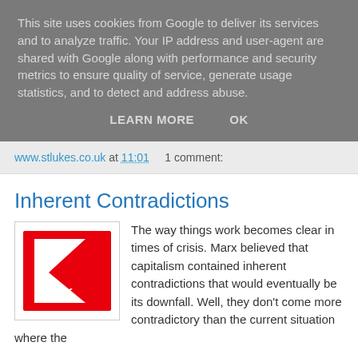This site uses cookies from Google to deliver its services and to analyze traffic. Your IP address and user-agent are shared with Google along with performance and security metrics to ensure quality of service, generate usage statistics, and to detect and address abuse.
LEARN MORE    OK
www.stlukes.co.uk at 11:01    1 comment:
Inherent Contradictions
[Figure (logo): Kmart-style logo with red K and cursive 'marx' text in white on red background]
The way things work becomes clear in times of crisis. Marx believed that capitalism contained inherent contradictions that would eventually be its downfall. Well, they don't come more contradictory than the current situation where the